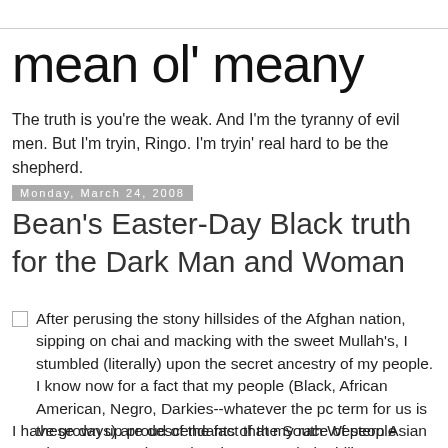mean ol' meany
The truth is you're the weak. And I'm the tyranny of evil men. But I'm tryin, Ringo. I'm tryin' real hard to be the shepherd.
Monday, March 24, 2008
Bean's Easter-Day Black truth for the Dark Man and Woman
After perusing the stony hillsides of the Afghan nation, sipping on chai and macking with the sweet Mullah's, I stumbled (literally) upon the secret ancestry of my people. I know now for a fact that my people (Black, African American, Negro, Darkies--whatever the pc term for us is these days) are descendants of the South Western Asian people. That Roots movie was waaaaaayyy wrong.
I have grown up proud of the fact that my race of people stood out among others when it came to their ability to